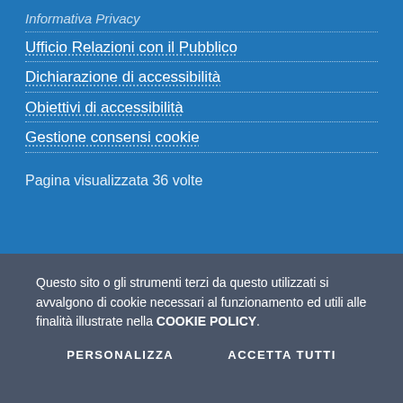Informativa Privacy
Ufficio Relazioni con il Pubblico
Dichiarazione di accessibilità
Obiettivi di accessibilità
Gestione consensi cookie
Pagina visualizzata 36 volte
Questo sito o gli strumenti terzi da questo utilizzati si avvalgono di cookie necessari al funzionamento ed utili alle finalità illustrate nella COOKIE POLICY.
PERSONALIZZA   ACCETTA TUTTI